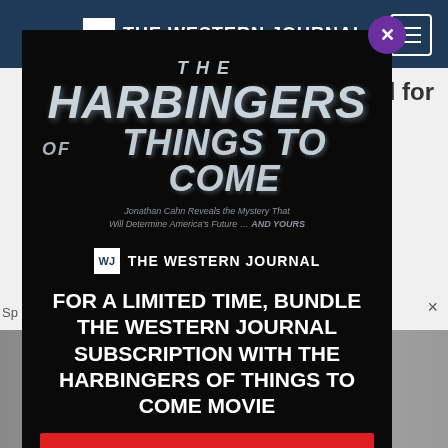THE WESTERN JOURNAL
[Figure (screenshot): Western Journal website background with blue navigation bar, blue content bars on right side, and bottom images area]
[Figure (infographic): Modal popup overlay with black background. Shows: THE HARBINGERS OF THINGS TO COME movie title in metallic text, tagline 'Jonathan Cahn Reveals the Mystery That Will Determine America's Future ... AND YOURS', The Western Journal logo, and promotional text 'FOR A LIMITED TIME, BUNDLE THE WESTERN JOURNAL SUBSCRIPTION WITH THE HARBINGERS OF THINGS TO COME MOVIE']
FOR A LIMITED TIME, BUNDLE THE WESTERN JOURNAL SUBSCRIPTION WITH THE HARBINGERS OF THINGS TO COME MOVIE